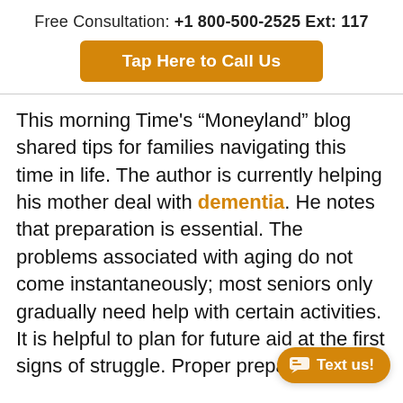Free Consultation: +1 800-500-2525 Ext: 117
[Figure (other): Orange CTA button reading 'Tap Here to Call Us']
This morning Time's "Moneyland" blog shared tips for families navigating this time in life. The author is currently helping his mother deal with dementia. He notes that preparation is essential. The problems associated with aging do not come instantaneously; most seniors only gradually need help with certain activities. It is helpful to plan for future aid at the first signs of struggle. Proper preparation includes a variety of things like ensuring wills or trusts are drafted, learning about your pa financial situation, obtaining lists of password information, and similar tasks.
[Figure (other): Orange rounded pill button in lower-right with chat icon reading 'Text us!']